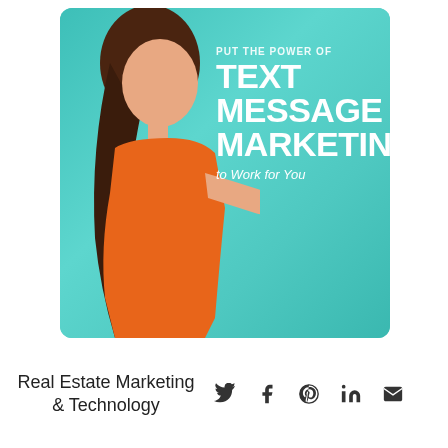[Figure (photo): A woman in an orange top smiling and looking at her phone against a teal/turquoise background, with overlaid white text reading 'PUT THE POWER OF TEXT MESSAGE MARKETING to Work for You']
Real Estate Marketing & Technology